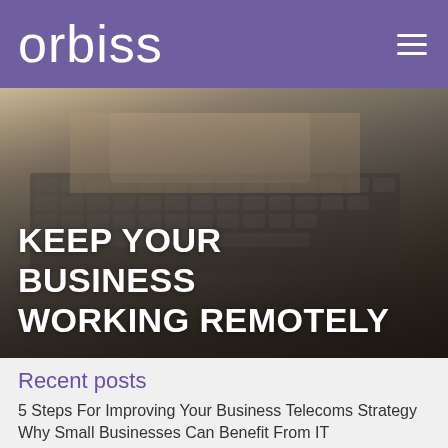orbiss
[Figure (photo): Close-up photo of two hands typing on a laptop keyboard, with dark overlay gradient and white bold uppercase text overlay reading KEEP YOUR BUSINESS WORKING REMOTELY]
KEEP YOUR BUSINESS WORKING REMOTELY
Recent posts
5 Steps For Improving Your Business Telecoms Strategy
Why Small Businesses Can Benefit From IT